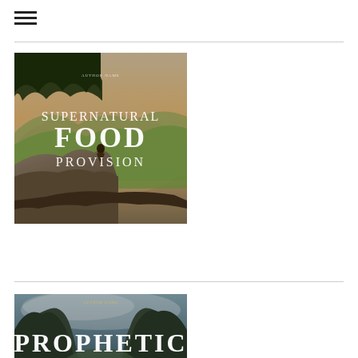[Figure (illustration): Hamburger menu icon with three horizontal lines]
[Figure (illustration): Book cover image showing a person sitting on a rocky overlook in a forest/mountain landscape with text 'SUPERNATURAL FOOD PROVISION' in white serif font on a nature background]
[Figure (illustration): Book cover image showing a misty mountain valley with text 'PROPHETIC' in white serif font, partially visible at bottom of page]